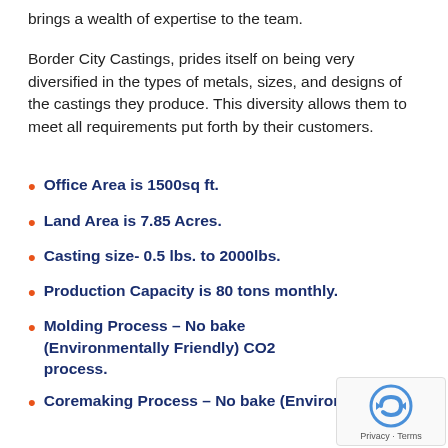brings a wealth of expertise to the team.
Border City Castings, prides itself on being very diversified in the types of metals, sizes, and designs of the castings they produce. This diversity allows them to meet all requirements put forth by their customers.
Office Area is 1500sq ft.
Land Area is 7.85 Acres.
Casting size- 0.5 lbs. to 2000lbs.
Production Capacity is 80 tons monthly.
Molding Process – No bake (Environmentally Friendly) CO2 process.
Coremaking Process – No bake (Environmentally